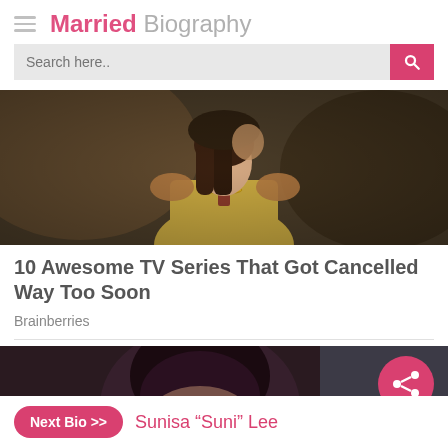Married Biography
[Figure (photo): A woman in a golden dress with a necklace, a man behind her with hands on her shoulders, period costume drama scene]
10 Awesome TV Series That Got Cancelled Way Too Soon
Brainberries
[Figure (photo): Partially visible dark-haired person, share button overlay on right side]
Next Bio >> Sunisa "Suni" Lee